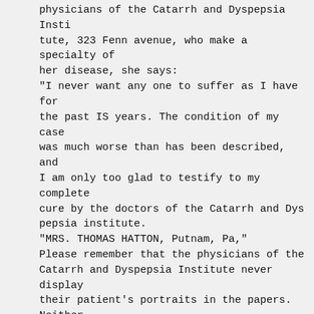physicians of the Catarrh and Dyspepsia Insti tute, 323 Fenn avenue, who make a specialty of her disease, she says:
"I never want any one to suffer as I have for the past IS years. The condition of my case was much worse than has been described, and I am only too glad to testify to my complete cure by the doctors of the Catarrh and Dys pepsia institute.
"MRS. THOMAS HATTON, Putnam, Pa,"
Please remember that the physicians of the Catarrh and Dyspepsia Institute never display their patient's portraits in the papers. Neither do they publish any testimonial, except with the full consent or wish of tho patient Furthermore, their testimonials are not from some far off place where no such parties reside, but from your own county and your own city, with the full name and address given, thus proving their genuineness. The atrrrb and Dyspepsia Institute is thoroughly established in Pittsbure, and thousands of patients gladly testify to cures they have re ceived. The treatment used does not consist of the so-called magnetic, or superhuman